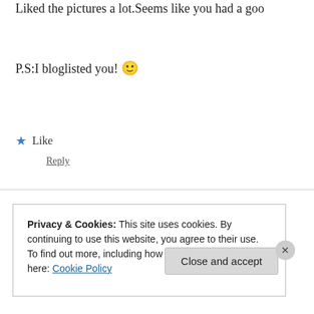Liked the pictures a lot.Seems like you had a good...
P.S:I bloglisted you! 🙂
★ Like
Reply
Neha says: September 30, 2009 at 7:50 AM
This comment has been removed by a blog admini...
Privacy & Cookies: This site uses cookies. By continuing to use this website, you agree to their use.
To find out more, including how to control cookies, see here: Cookie Policy
Close and accept